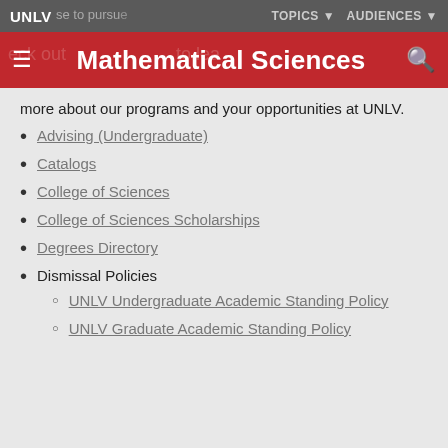UNLV  TOPICS ▼  AUDIENCES ▼
Mathematical Sciences
more about our programs and your opportunities at UNLV.
Advising (Undergraduate)
Catalogs
College of Sciences
College of Sciences Scholarships
Degrees Directory
Dismissal Policies
UNLV Undergraduate Academic Standing Policy
UNLV Graduate Academic Standing Policy